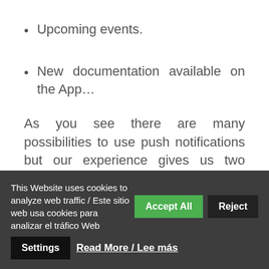Upcoming events.
New documentation available on the App…
As you see there are many possibilities to use push notifications but our experience gives us two simple tips:
This Website uses cookies to analyze web traffic / Este sitio web usa cookies para analizar el tráfico Web  Accept All  Reject  Settings  Read More / Lee más